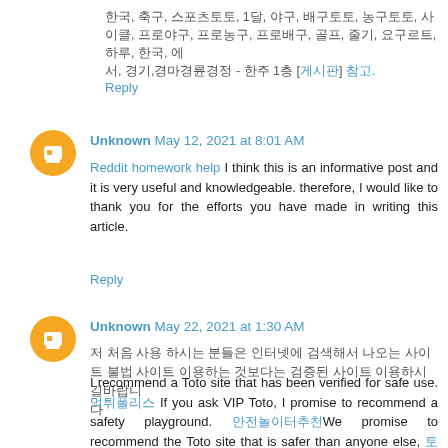한국, 축구, 스포츠토토, 1달, 야구, 배구토토, 농구토토, 사이클, 프로야구, 프로농구, 프로배구, 골프, 줄기, 요구르트, 하루, 한국, 에
서, 경기,경마경륜경정 - 한주 1층 [게시판] 참고.
Reply
Unknown May 12, 2021 at 8:01 AM
Reddit homework help I think this is an informative post and it is very useful and knowledgeable. therefore, I would like to thank you for the efforts you have made in writing this article.
Reply
Unknown May 22, 2021 at 1:30 AM
저 처음 사용 하시는 분들은 인터넷에 검색해서 나오는 사이트 불법 사이트 이용하는 것보다는 검증된 사이트 이용하시길바랍니
다
I recommend a Toto site that has been verified for safe use. 먹튀폴리스 If you ask VIP Toto, I promise to recommend a safety playground. 안전놀이터추천We promise to recommend the Toto site that is safer than anyone else, 토토 and please contact VIP